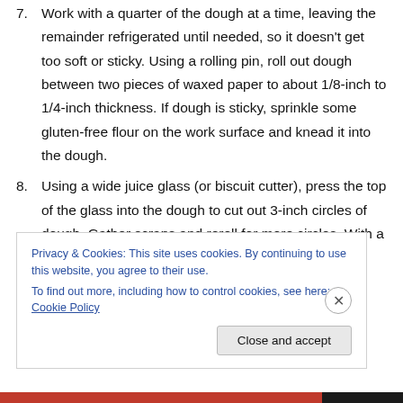7. Work with a quarter of the dough at a time, leaving the remainder refrigerated until needed, so it doesn't get too soft or sticky. Using a rolling pin, roll out dough between two pieces of waxed paper to about 1/8-inch to 1/4-inch thickness. If dough is sticky, sprinkle some gluten-free flour on the work surface and knead it into the dough.
8. Using a wide juice glass (or biscuit cutter), press the top of the glass into the dough to cut out 3-inch circles of dough. Gather scraps and reroll for more circles. With a spatula, move dough circles to cookie sheets
Privacy & Cookies: This site uses cookies. By continuing to use this website, you agree to their use. To find out more, including how to control cookies, see here: Cookie Policy